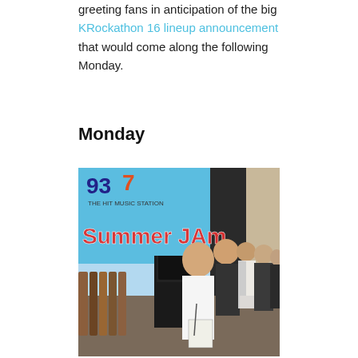greeting fans in anticipation of the big KRockathon 16 lineup announcement that would come along the following Monday.
Monday
[Figure (photo): Photo of people on stage at a Summer Jam event. A banner reads '93 THE HIT MUSIC STATION SUMMER JAM'. A young man in a white shirt holds a microphone and papers, with a bald man behind him and others including police officers nearby. Guitars are visible on the left.]